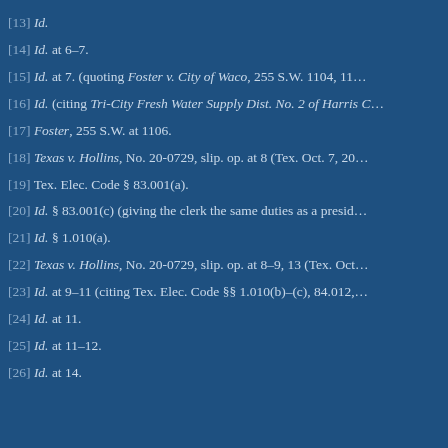[13] Id.
[14] Id. at 6–7.
[15] Id. at 7. (quoting Foster v. City of Waco, 255 S.W. 1104, 11…
[16] Id. (citing Tri-City Fresh Water Supply Dist. No. 2 of Harris C…
[17] Foster, 255 S.W. at 1106.
[18] Texas v. Hollins, No. 20-0729, slip. op. at 8 (Tex. Oct. 7, 20…
[19] Tex. Elec. Code § 83.001(a).
[20] Id. § 83.001(c) (giving the clerk the same duties as a presid…
[21] Id. § 1.010(a).
[22] Texas v. Hollins, No. 20-0729, slip. op. at 8–9, 13 (Tex. Oct…
[23] Id. at 9–11 (citing Tex. Elec. Code §§ 1.010(b)–(c), 84.012,…
[24] Id. at 11.
[25] Id. at 11–12.
[26] Id. at 14.